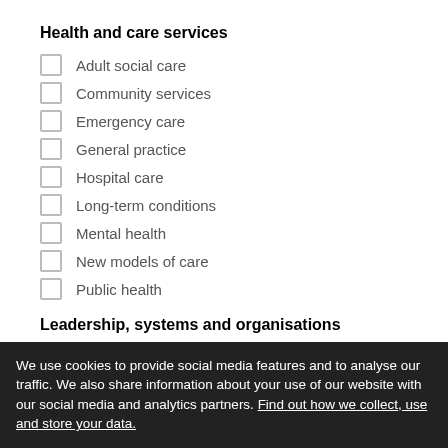Health and care services
Adult social care
Community services
Emergency care
General practice
Hospital care
Long-term conditions
Mental health
New models of care
Public health
Leadership, systems and organisations
Clinical commissioning groups
Clinical leadership
We use cookies to provide social media features and to analyse our traffic. We also share information about your use of our website with our social media and analytics partners. Find out how we collect, use and store your data.